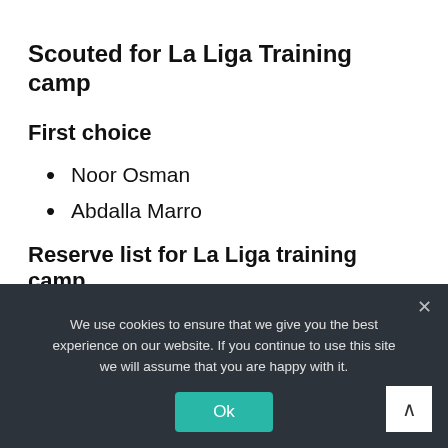Scouted for La Liga Training camp
First choice
Noor Osman
Abdalla Marro
Reserve list for La Liga training camp
Ibrahim Billow Osman
Khalid Yusuf
We use cookies to ensure that we give you the best experience on our website. If you continue to use this site we will assume that you are happy with it.